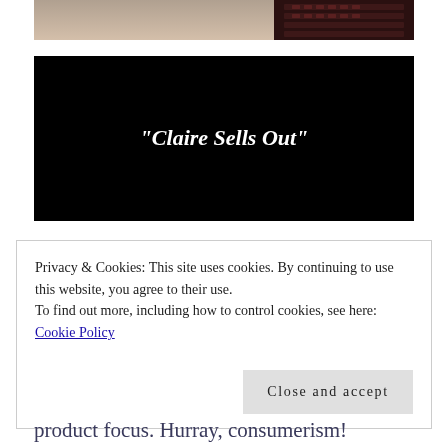[Figure (photo): Partial photo of what appears to be a dark wooden object on a light/beige surface, cropped at top]
[Figure (screenshot): Black video frame/thumbnail with white italic bold text reading: "Claire Sells Out"]
Privacy & Cookies: This site uses cookies. By continuing to use this website, you agree to their use.
To find out more, including how to control cookies, see here:
Cookie Policy
Close and accept
product focus. Hurray, consumerism!